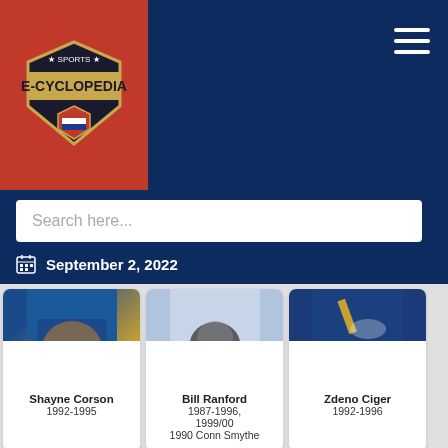[Figure (logo): Sports E-Cyclopedia logo on red background]
Search here...
September 2, 2022
[Figure (photo): Hockey player photo - Shayne Corson]
Shayne Corson
1992-1995
[Figure (photo): Hockey player photo - Bill Ranford]
Bill Ranford
1987-1996, 1999/00
1990 Conn Smythe
[Figure (photo): Hockey player photo - Zdeno Ciger]
Zdeno Ciger
1992-1996
[Figure (photo): Hockey player photo bottom row left]
[Figure (photo): Hockey goalie photo bottom row center]
[Figure (photo): Hockey player photo bottom row right]